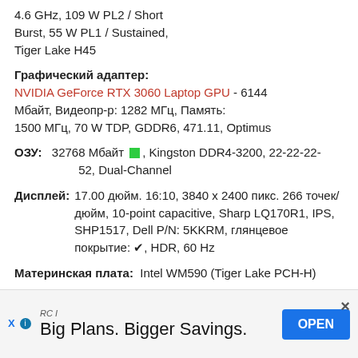4.6 GHz, 109 W PL2 / Short Burst, 55 W PL1 / Sustained, Tiger Lake H45
Графический адаптер: NVIDIA GeForce RTX 3060 Laptop GPU - 6144 Мбайт, Видеопр-р: 1282 МГц, Память: 1500 МГц, 70 W TDP, GDDR6, 471.11, Optimus
ОЗУ: 32768 Мбайт [green], Kingston DDR4-3200, 22-22-22-52, Dual-Channel
Дисплей: 17.00 дюйм. 16:10, 3840 x 2400 пикс. 266 точек/дюйм, 10-point capacitive, Sharp LQ170R1, IPS, SHP1517, Dell P/N: 5KKRM, глянцевое покрытие: ✔, HDR, 60 Hz
Материнская плата: Intel WM590 (Tiger Lake PCH-H)
Хранение данных:
[Figure (other): Advertisement banner: RCI logo, text 'Big Plans. Bigger Savings.', OPEN button, close X button]